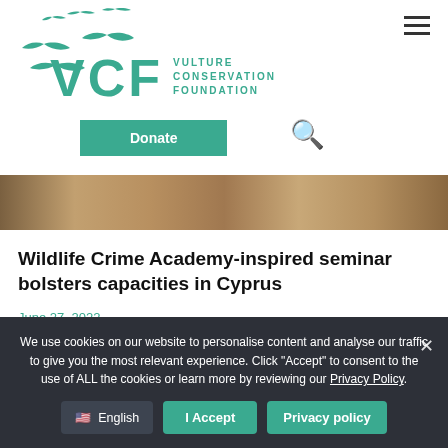[Figure (logo): VCF Vulture Conservation Foundation logo with green vulture silhouettes and teal text]
[Figure (photo): Partial view of a rocky/sandy terrain image strip]
Wildlife Crime Academy-inspired seminar bolsters capacities in Cyprus
June 27, 2022
We use cookies on our website to personalise content and analyse our traffic to give you the most relevant experience. Click "Accept" to consent to the use of ALL the cookies or learn more by reviewing our Privacy Policy.